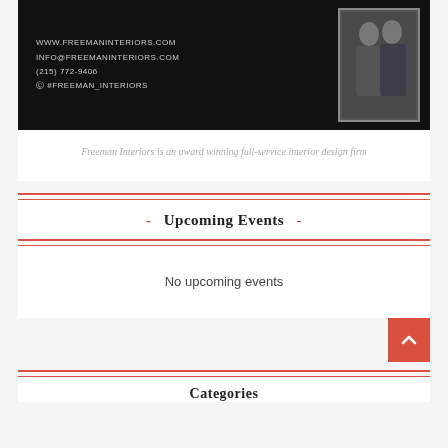[Figure (photo): Freeman Interiors advertisement banner on black background showing website www.FreemanInteriors.com, email Info@FreemanInteriors.com, phone (215) 772-9406, Instagram @#Freeman_Interiors, with a photo of a man and woman on the right side]
Freeman Interiors is an award winning full-service interior design firm
- Upcoming Events -
No upcoming events
Categories